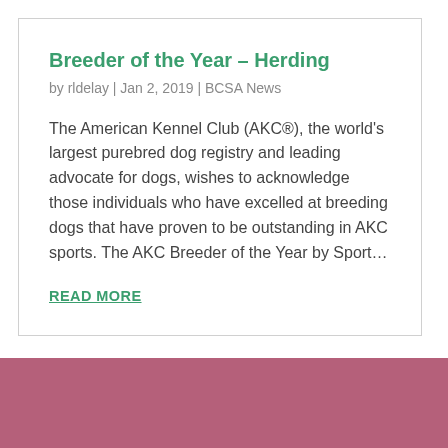Breeder of the Year – Herding
by rldelay | Jan 2, 2019 | BCSA News
The American Kennel Club (AKC®), the world's largest purebred dog registry and leading advocate for dogs, wishes to acknowledge those individuals who have excelled at breeding dogs that have proven to be outstanding in AKC sports. The AKC Breeder of the Year by Sport…
READ MORE